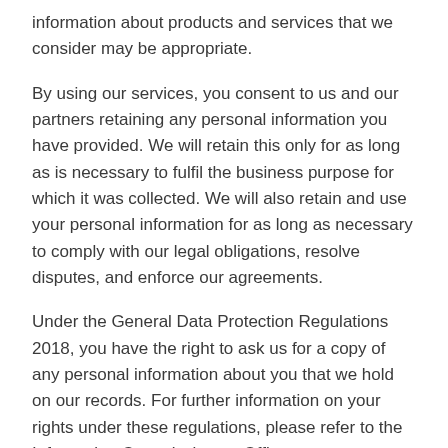information about products and services that we consider may be appropriate.
By using our services, you consent to us and our partners retaining any personal information you have provided. We will retain this only for as long as is necessary to fulfil the business purpose for which it was collected. We will also retain and use your personal information for as long as necessary to comply with our legal obligations, resolve disputes, and enforce our agreements.
Under the General Data Protection Regulations 2018, you have the right to ask us for a copy of any personal information about you that we hold on our records. For further information on your rights under these regulations, please refer to the Information Commissioners Office – www.ico.org.uk.
Duty of Disclosure
You must take reasonable care not to make a misrepresentation to your insurer. This means that all of the